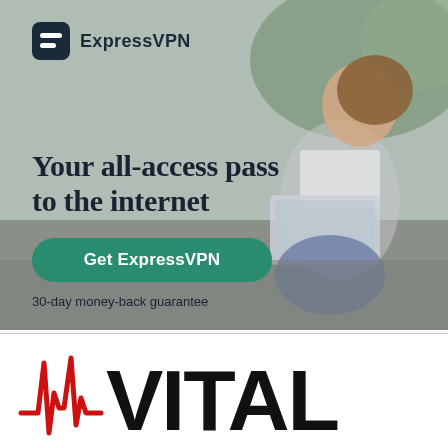[Figure (illustration): ExpressVPN advertisement banner showing a woman sitting on the ground using a laptop, with ExpressVPN logo at top, headline 'Your all-access pass to the internet', a green 'Get ExpressVPN' button, and '30-day money-back guarantee' text]
[Figure (logo): VITAL logo with red EKG/heartbeat waveform icon on the left and bold black 'VITAL' text on the right]